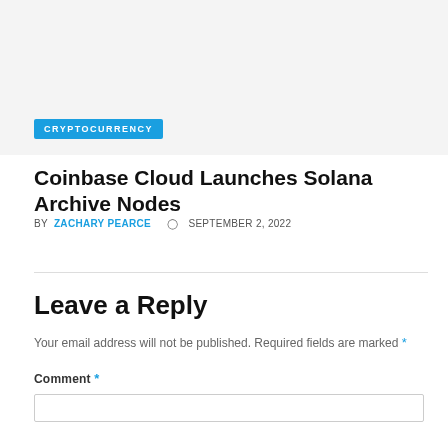[Figure (other): Gray placeholder image area at the top of the page]
CRYPTOCURRENCY
Coinbase Cloud Launches Solana Archive Nodes
BY ZACHARY PEARCE  SEPTEMBER 2, 2022
Leave a Reply
Your email address will not be published. Required fields are marked *
Comment *